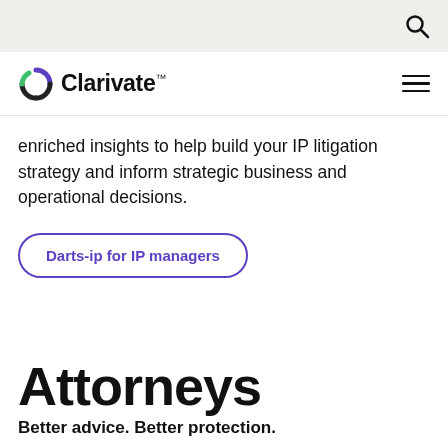Clarivate™ — navigation bar with search icon and hamburger menu
enriched insights to help build your IP litigation strategy and inform strategic business and operational decisions.
Darts-ip for IP managers
Attorneys
Better advice. Better protection.